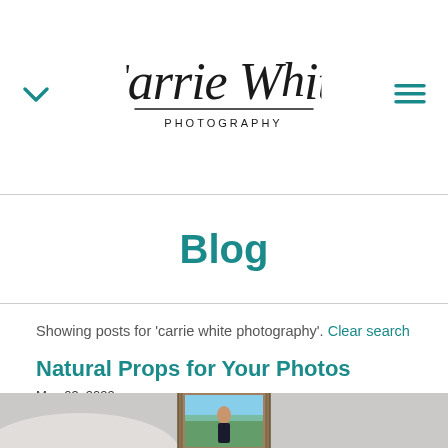[Figure (logo): Carrie White Photography logo with handwritten script text and PHOTOGRAPHY in uppercase letterspacing below a horizontal rule]
Blog
Showing posts for 'carrie white photography'. Clear search
Natural Props for Your Photos
May 03, 2022
[Figure (photo): A framed portrait photograph of a teenage girl outdoors with trees in the background, displayed on a light grey surface]